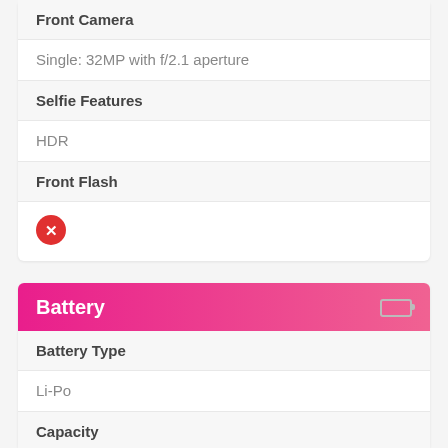Front Camera
Single: 32MP with f/2.1 aperture
Selfie Features
HDR
Front Flash
[Figure (illustration): Red circle with white X mark indicating no/false]
Battery
Battery Type
Li-Po
Capacity